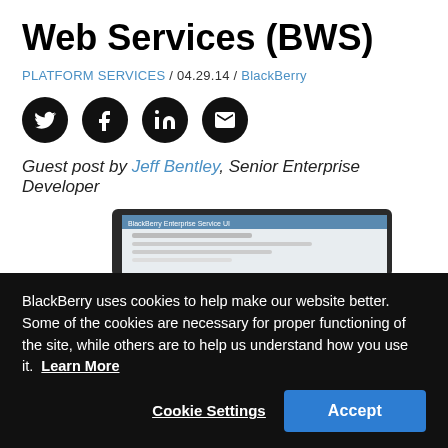Web Services (BWS)
PLATFORM SERVICES / 04.29.14 / BlackBerry
[Figure (infographic): Four social sharing icons: Twitter, Facebook, LinkedIn, Email — black circular buttons]
Guest post by Jeff Bentley, Senior Enterprise Developer
[Figure (screenshot): Partial view of a BlackBerry Enterprise Service UI on a tablet device]
BlackBerry uses cookies to help make our website better. Some of the cookies are necessary for proper functioning of the site, while others are to help us understand how you use it.  Learn More
Cookie Settings
Accept